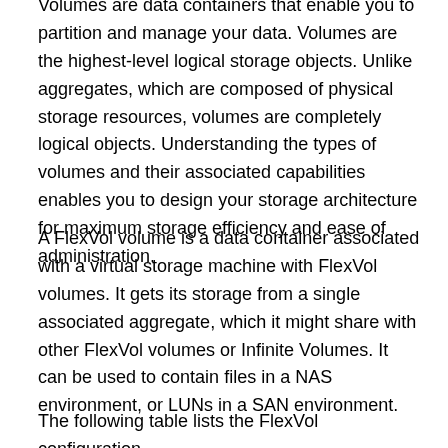Volumes are data containers that enable you to partition and manage your data. Volumes are the highest-level logical storage objects. Unlike aggregates, which are composed of physical storage resources, volumes are completely logical objects. Understanding the types of volumes and their associated capabilities enables you to design your storage architecture for maximum storage efficiency and ease of administration.
A FlexVol volume is a data container associated with a virtual storage machine with FlexVol volumes. It gets its storage from a single associated aggregate, which it might share with other FlexVol volumes or Infinite Volumes. It can be used to contain files in a NAS environment, or LUNs in a SAN environment.
The following table lists the FlexVol configuration.